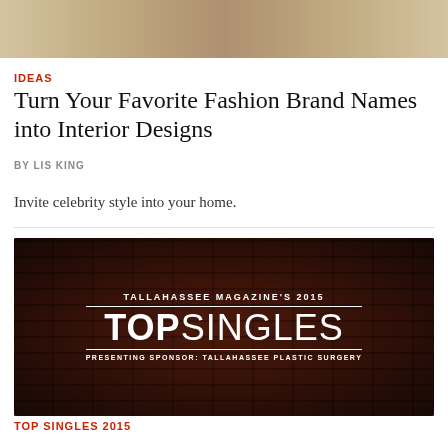[Figure (photo): Top portion of a home interior photo showing warm beige/tan tones, partially visible]
IDEAS
Turn Your Favorite Fashion Brand Names into Interior Designs
BY LIS KING
Invite celebrity style into your home.
[Figure (photo): Advertisement image: dark brick wall background with white text reading 'TALLAHASSEE MAGAZINE'S 2015 TOP SINGLES PRESENTING SPONSOR: TALLAHASSEE PLASTIC SURGERY']
TOP SINGLES 2015